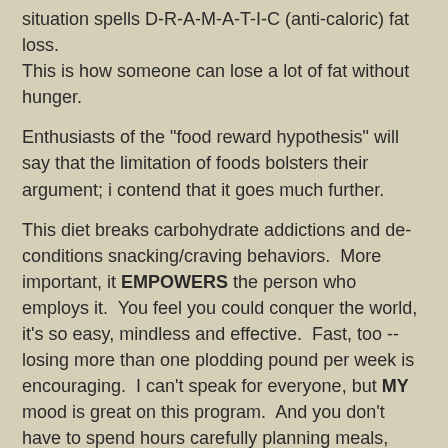situation spells D-R-A-M-A-T-I-C (anti-caloric) fat loss. This is how someone can lose a lot of fat without hunger.
Enthusiasts of the "food reward hypothesis" will say that the limitation of foods bolsters their argument; i contend that it goes much further.
This diet breaks carbohydrate addictions and de-conditions snacking/craving behaviors.  More important, it EMPOWERS the person who employs it.  You feel you could conquer the world, it's so easy, mindless and effective.  Fast, too -- losing more than one plodding pound per week is encouraging.  I can't speak for everyone, but MY mood is great on this program.  And you don't have to spend hours carefully planning meals, shopping for arcane grocery items, and cooking.
You can easily avoid allergens and toxins on a mostly-meat diet, too -- just choose meats you don't have a problem with!  ;-)  Duh.
We know that one can get every required nutrient from "fresh fat meat" as Dr. Donaldson repeatedly expressed it.